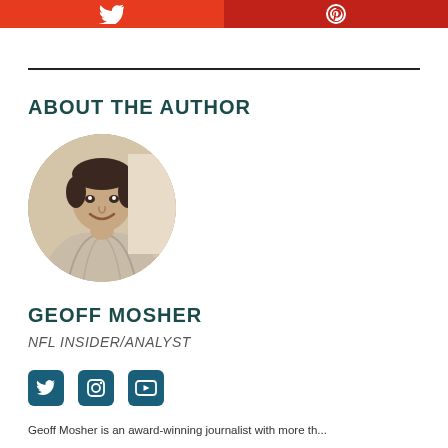ABOUT THE AUTHOR
[Figure (photo): Circular profile photo of Geoff Mosher, a man smiling, wearing a striped shirt, with a light background]
GEOFF MOSHER
NFL INSIDER/ANALYST
[Figure (infographic): Social media icons: Twitter (bird), Instagram, YouTube]
Geoff Mosher is an award-winning journalist with more th...